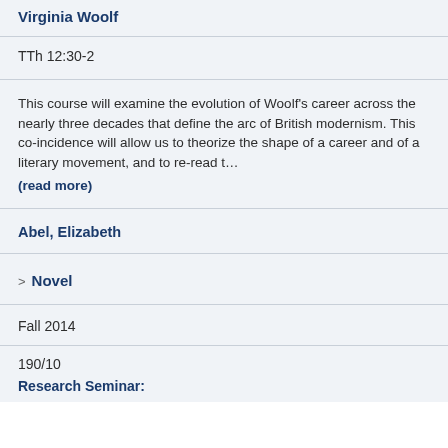Virginia Woolf
TTh 12:30-2
This course will examine the evolution of Woolf's career across the nearly three decades that define the arc of British modernism. This co-incidence will allow us to theorize the shape of a career and of a literary movement, and to re-read t... (read more)
Abel, Elizabeth
> Novel
Fall 2014
190/10
Research Seminar: